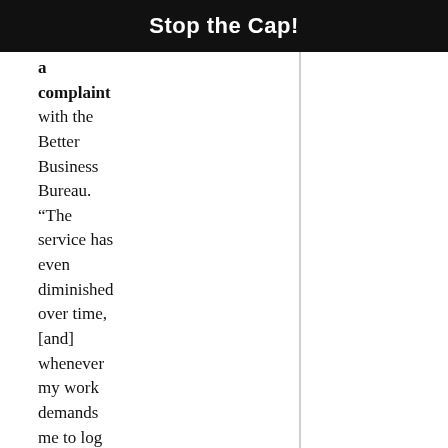Stop the Cap!
a complaint with the Better Business Bureau. “The service has even diminished over time, [and] whenever my work demands me to log online, I often have